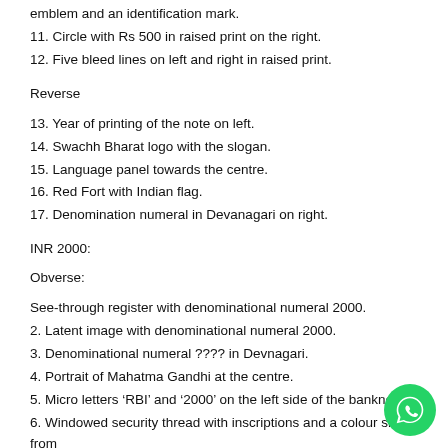emblem and an identification mark.
11. Circle with Rs 500 in raised print on the right.
12. Five bleed lines on left and right in raised print.
Reverse
13. Year of printing of the note on left.
14. Swachh Bharat logo with the slogan.
15. Language panel towards the centre.
16. Red Fort with Indian flag.
17. Denomination numeral in Devanagari on right.
INR 2000:
Obverse:
See-through register with denominational numeral 2000.
2. Latent image with denominational numeral 2000.
3. Denominational numeral ???? in Devnagari.
4. Portrait of Mahatma Gandhi at the centre.
5. Micro letters ‘RBI’ and ‘2000’ on the left side of the banknote.
6. Windowed security thread with inscriptions and a colour shift from green to blue when the note is tilted.